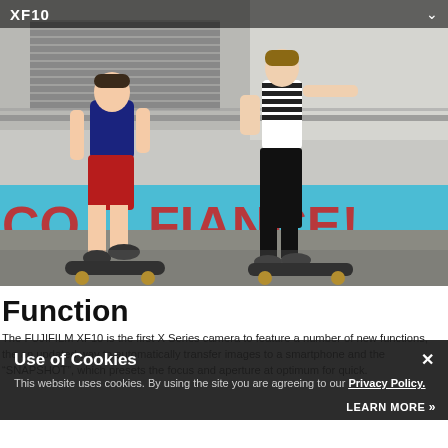XF10
[Figure (photo): Two skateboarders riding on a street in front of a colorful mural with the text 'CONFIANCE!' in red letters on a blue background. One person wears a navy t-shirt and red shorts, the other wears a striped shirt and black jeans.]
Function
The FUJIFILM XF10 is the first X Series camera to feature a number of new functions, the an updated way to automatically transfer images to a smartphone and the "SNAPSHOT", which presets the focus and aperture at optimum for quick.
Use of Cookies
This website uses cookies. By using the site you are agreeing to our Privacy Policy.
LEARN MORE »